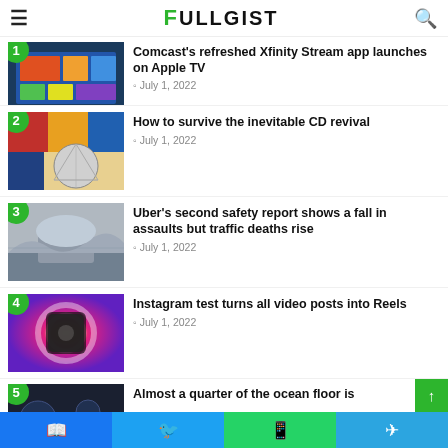FULLGIST
Comcast's refreshed Xfinity Stream app launches on Apple TV — July 1, 2022
How to survive the inevitable CD revival — July 1, 2022
Uber's second safety report shows a fall in assaults but traffic deaths rise — July 1, 2022
Instagram test turns all video posts into Reels — July 1, 2022
Almost a quarter of the ocean floor is...
Facebook | Twitter | WhatsApp | Telegram